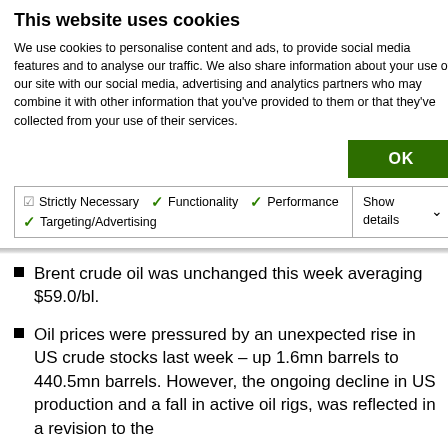This website uses cookies
We use cookies to personalise content and ads, to provide social media features and to analyse our traffic. We also share information about your use of our site with our social media, advertising and analytics partners who may combine it with other information that you've provided to them or that they've collected from your use of their services.
OK
✓ Strictly Necessary  ✓ Functionality  ✓ Performance  ✓ Targeting/Advertising  Show details
Brent crude oil was unchanged this week averaging $59.0/bl.
Oil prices were pressured by an unexpected rise in US crude stocks last week – up 1.6mn barrels to 440.5mn barrels. However, the ongoing decline in US production and a fall in active oil rigs, was reflected in a revision to the